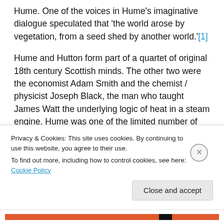Hume. One of the voices in Hume's imaginative dialogue speculated that 'the world arose by vegetation, from a seed shed by another world.'[1]
Hume and Hutton form part of a quartet of original 18th century Scottish minds. The other two were the economist Adam Smith and the chemist / physicist Joseph Black, the man who taught James Watt the underlying logic of heat in a steam engine. Hume was one of the limited number of patients whom Black
Privacy & Cookies: This site uses cookies. By continuing to use this website, you agree to their use. To find out more, including how to control cookies, see here: Cookie Policy